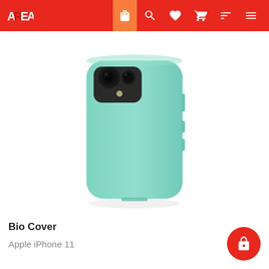AREA — navigation bar with shop, search, heart, cart, filter, menu icons
[Figure (photo): A mint/teal colored Bio Cover phone case for Apple iPhone 11, shown from the back at a slight angle. The case has a smooth matte finish and shows the camera cutout at the top left. White background.]
Bio Cover
Apple iPhone 11